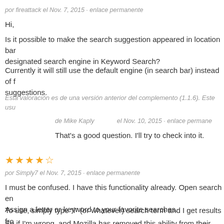por fireattack el Nov. 7, 2015 · enlace permanente
Hi,
Is it possible to make the search suggestion appeared in location bar use the designated search engine in Keyword Search?
Currently it will still use the default engine (in search bar) instead of fetching suggestions.
Esta valoración es de una versión anterior del complemento (1.1.6). Este usu
de Mike Kaply   el Nov. 10, 2015 · enlace permanente
That's a good question. I'll try to check into it.
[Figure (other): 4 gold stars rating]
por Simply7 el Nov. 7, 2015 · enlace permanente
I must be confused. I have this functionality already. Open search en Assign a letter or keyword to your favorite searches.
To use, simply type "i" (or whatever) search term and I get results fro
So if I'm wrong, and Mozilla has removed this ability from their latest